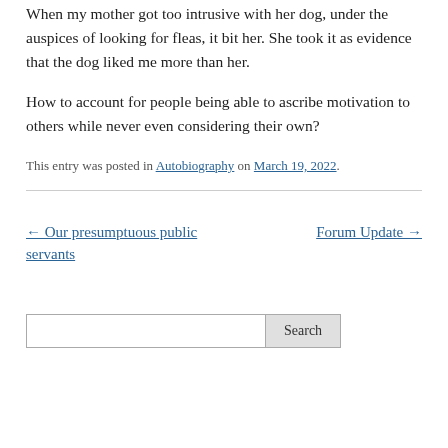When my mother got too intrusive with her dog, under the auspices of looking for fleas, it bit her. She took it as evidence that the dog liked me more than her.
How to account for people being able to ascribe motivation to others while never even considering their own?
This entry was posted in Autobiography on March 19, 2022.
← Our presumptuous public servants
Forum Update →